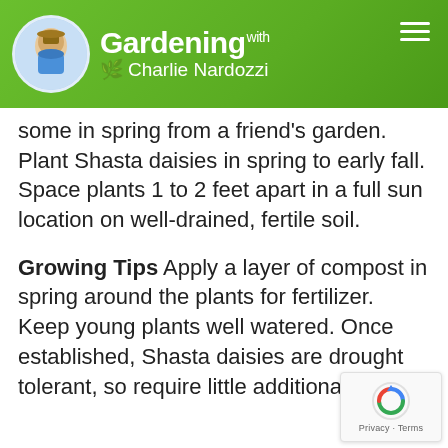Gardening with Charlie Nardozzi
some in spring from a friend's garden. Plant Shasta daisies in spring to early fall. Space plants 1 to 2 feet apart in a full sun location on well-drained, fertile soil.
Growing Tips Apply a layer of compost in spring around the plants for fertilizer. Keep young plants well watered. Once established, Shasta daisies are drought tolerant, so require little additional water.